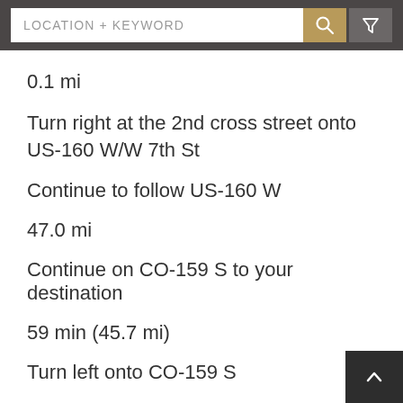LOCATION + KEYWORD
0.1 mi
Turn right at the 2nd cross street onto US-160 W/W 7th St
Continue to follow US-160 W
47.0 mi
Continue on CO-159 S to your destination
59 min (45.7 mi)
Turn left onto CO-159 S